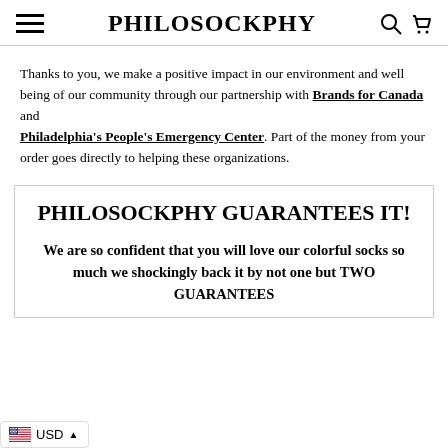PHILOSOCKPHY
Thanks to you, we make a positive impact in our environment and well being of our community through our partnership with Brands for Canada and Philadelphia's People's Emergency Center. Part of the money from your order goes directly to helping these organizations.
PHILOSOCKPHY GUARANTEES IT!
We are so confident that you will love our colorful socks so much we shockingly back it by not one but TWO GUARANTEES